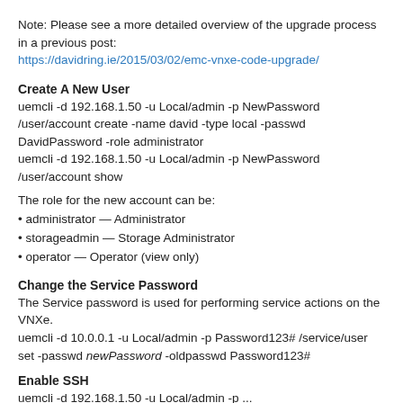Note: Please see a more detailed overview of the upgrade process in a previous post:
https://davidring.ie/2015/03/02/emc-vnxe-code-upgrade/
Create A New User
uemcli -d 192.168.1.50 -u Local/admin -p NewPassword /user/account create -name david -type local -passwd DavidPassword -role administrator
uemcli -d 192.168.1.50 -u Local/admin -p NewPassword /user/account show
The role for the new account can be:
administrator — Administrator
storageadmin — Storage Administrator
operator — Operator (view only)
Change the Service Password
The Service password is used for performing service actions on the VNXe.
uemcli -d 10.0.0.1 -u Local/admin -p Password123# /service/user set -passwd newPassword -oldpasswd Password123#
Enable SSH
uemcli -d 192.168.1.50 -u Local/admin -p ...